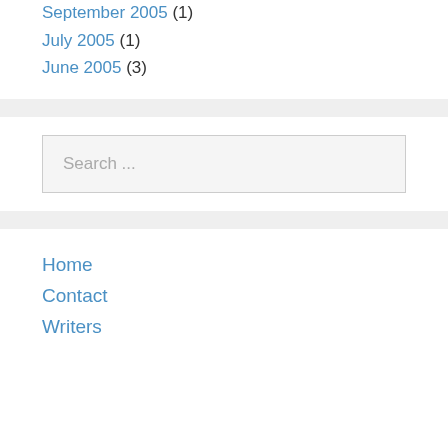September 2005 (1)
July 2005 (1)
June 2005 (3)
Search ...
Home
Contact
Writers